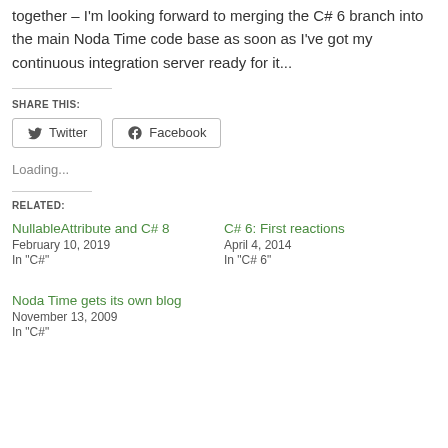together – I'm looking forward to merging the C# 6 branch into the main Noda Time code base as soon as I've got my continuous integration server ready for it...
SHARE THIS:
Twitter
Facebook
Loading...
RELATED:
NullableAttribute and C# 8
February 10, 2019
In "C#"
C# 6: First reactions
April 4, 2014
In "C# 6"
Noda Time gets its own blog
November 13, 2009
In "C#"